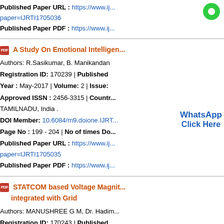Published Paper URL : https://www.ij...paper=IJRTI1705036
Published Paper PDF : https://www.ij...
A Study On Emotional Intelligen...
Authors: R.Sasikumar, B. Manikandan
Registration ID: 170239 | Published...
Year : May-2017 | Volume: 2 | Issue:...
Approved ISSN : 2456-3315 | Countr...TAMILNADU, India .
DOI Member: 10.6084/m9.doione.IJRT...
Page No : 199 - 204 | No of times Do...
Published Paper URL : https://www.ij...paper=IJRTI1705035
Published Paper PDF : https://www.ij...
STATCOM based Voltage Magnit... integrated with Grid
Authors: MANUSHREE G M, Dr. Hadim...
Registration ID: 170243 | Published...
Year : May-2017 | Volume: 2 | Issue:...